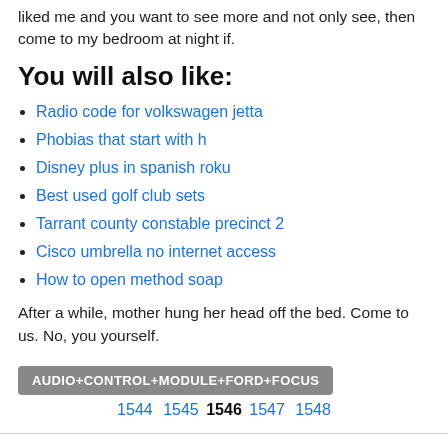liked me and you want to see more and not only see, then come to my bedroom at night if.
You will also like:
Radio code for volkswagen jetta
Phobias that start with h
Disney plus in spanish roku
Best used golf club sets
Tarrant county constable precinct 2
Cisco umbrella no internet access
How to open method soap
After a while, mother hung her head off the bed. Come to us. No, you yourself.
AUDIO+CONTROL+MODULE+FORD+FOCUS
1544 1545 1546 1547 1548